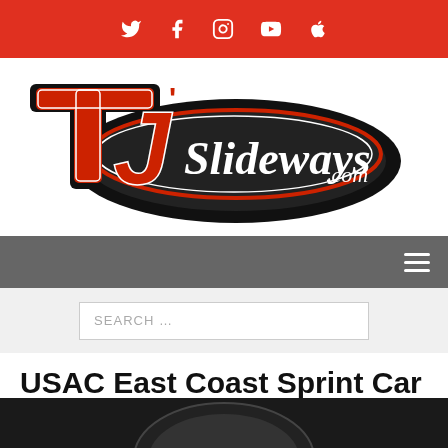Social media icons: Twitter, Facebook, Instagram, YouTube, Apple
[Figure (logo): TJ Slideways .com logo — stylized red and black TJ with cursive Slideways.com text on a racing swoosh]
Navigation bar with hamburger menu
SEARCH …
USAC East Coast Sprint Car Series